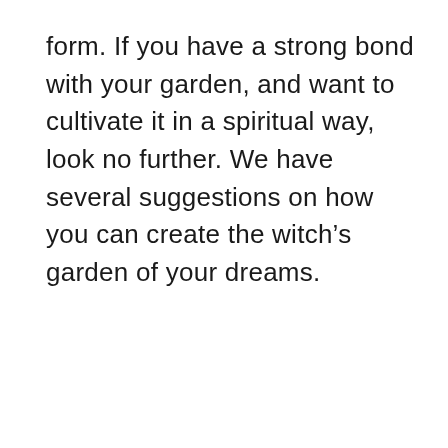form. If you have a strong bond with your garden, and want to cultivate it in a spiritual way, look no further. We have several suggestions on how you can create the witch's garden of your dreams.